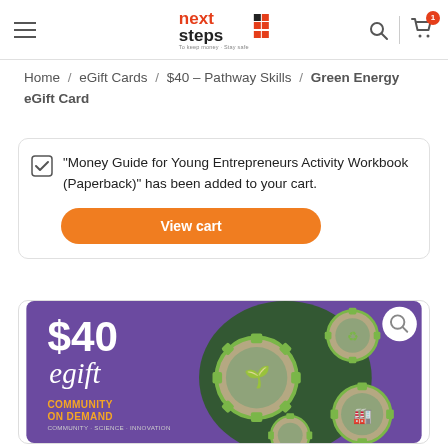Next Steps — navigation header with logo, search, and cart (1 item)
Home / eGift Cards / $40 – Pathway Skills / Green Energy eGift Card
"Money Guide for Young Entrepreneurs Activity Workbook (Paperback)" has been added to your cart.
View cart
[Figure (illustration): $40 eGift card for Green Energy / Community on Demand — purple background with green mechanical gears featuring a tree, recycling, and factory icons]